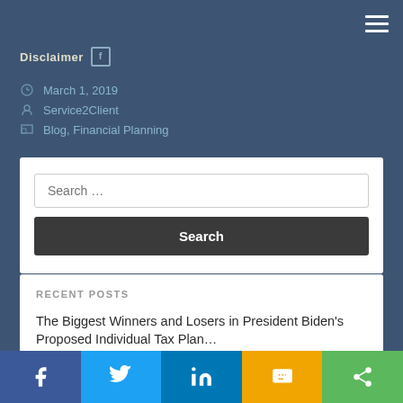Disclaimer
March 1, 2019
Service2Client
Blog, Financial Planning
Search …
RECENT POSTS
The Biggest Winners and Losers in President Biden's Proposed Individual Tax Plan…